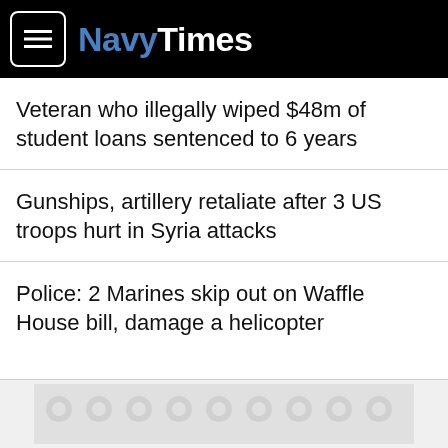NavyTimes
Veteran who illegally wiped $48m of student loans sentenced to 6 years
Gunships, artillery retaliate after 3 US troops hurt in Syria attacks
Police: 2 Marines skip out on Waffle House bill, damage a helicopter
[Figure (other): Advertisement banner at bottom of page with decorative pattern]